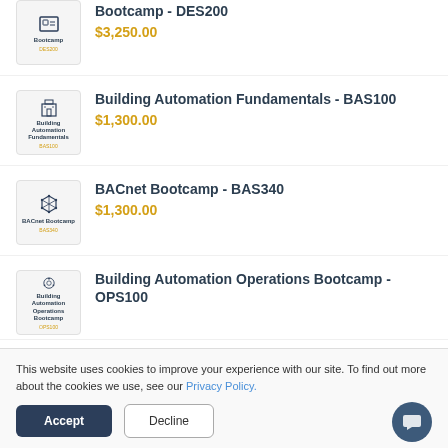Bootcamp - DES200
$3,250.00
Building Automation Fundamentals - BAS100
$1,300.00
BACnet Bootcamp - BAS340
$1,300.00
Building Automation Operations Bootcamp - OPS100
This website uses cookies to improve your experience with our site. To find out more about the cookies we use, see our Privacy Policy.
Accept
Decline